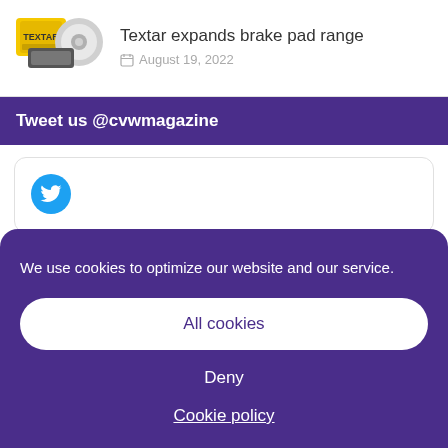[Figure (photo): Textar brake pads and rotor product image in yellow packaging]
Textar expands brake pad range
August 19, 2022
Tweet us @cvwmagazine
[Figure (screenshot): Twitter bird icon in a rounded card widget]
We use cookies to optimize our website and our service.
All cookies
Deny
Cookie policy